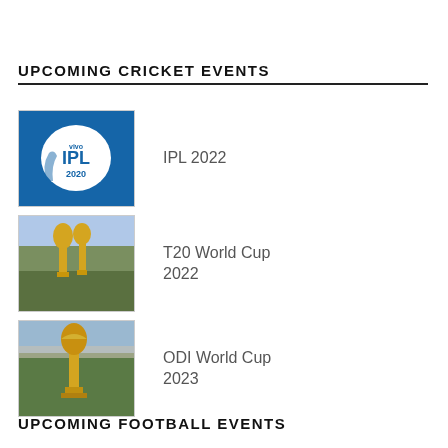UPCOMING CRICKET EVENTS
IPL 2022
T20 World Cup 2022
ODI World Cup 2023
UPCOMING FOOTBALL EVENTS